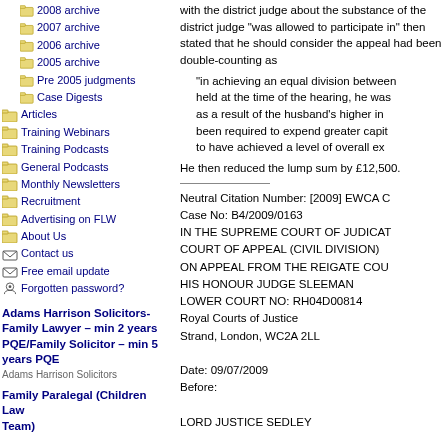2008 archive
2007 archive
2006 archive
2005 archive
Pre 2005 judgments
Case Digests
Articles
Training Webinars
Training Podcasts
General Podcasts
Monthly Newsletters
Recruitment
Advertising on FLW
About Us
Contact us
Free email update
Forgotten password?
Adams Harrison Solicitors- Family Lawyer – min 2 years PQE/Family Solicitor – min 5 years PQE
Adams Harrison Solicitors
Family Paralegal (Children Law Team)
with the district judge about the substance of the district judge "was allowed to participate in" then stated that he should consider the appeal had been double-counting as
"in achieving an equal division between... held at the time of the hearing, he was... as a result of the husband's higher income... been required to expend greater capital... to have achieved a level of overall ex...
He then reduced the lump sum by £12,500.
Neutral Citation Number: [2009] EWCA C... Case No: B4/2009/0163 IN THE SUPREME COURT OF JUDICAT... COURT OF APPEAL (CIVIL DIVISION) ON APPEAL FROM THE REIGATE COU... HIS HONOUR JUDGE SLEEMAN LOWER COURT NO: RH04D00814 Royal Courts of Justice Strand, London, WC2A 2LL Date: 09/07/2009 Before:
LORD JUSTICE SEDLEY